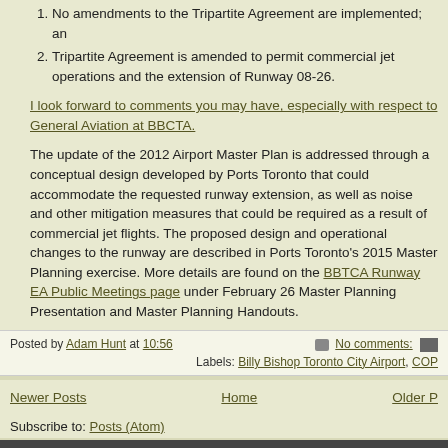1. No amendments to the Tripartite Agreement are implemented; an
2. Tripartite Agreement is amended to permit commercial jet operations and the extension of Runway 08-26.
I look forward to comments you may have, especially with respect to General Aviation at BBCTA.
The update of the 2012 Airport Master Plan is addressed through a conceptual design developed by Ports Toronto that could accommodate the requested runway extension, as well as noise and other mitigation measures that could be required as a result of commercial jet flights. The proposed design and operational changes to the runway are described in Ports Toronto's 2015 Master Planning exercise. More details are found on the BBTCA Runway EA Public Meetings page under February 26 Master Planning Presentation and Master Planning Handouts.
Posted by Adam Hunt at 10:56   No comments:   Labels: Billy Bishop Toronto City Airport, COP
Newer Posts   Home   Older P
Subscribe to: Posts (Atom)